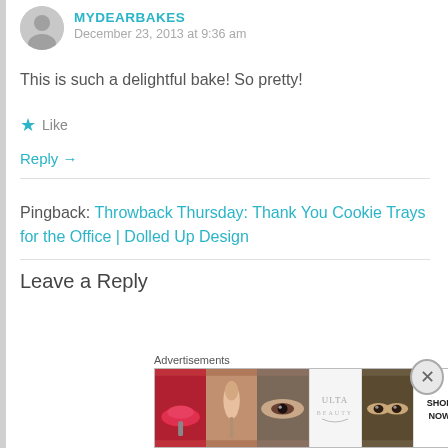MYDEARBAKES
December 23, 2013 at 9:36 am
This is such a delightful bake! So pretty!
Like
Reply →
Pingback: Throwback Thursday: Thank You Cookie Trays for the Office | Dolled Up Design
Leave a Reply
Advertisements
[Figure (other): Ulta Beauty advertisement banner with makeup images (lips, brush, eyes) and SHOP NOW text]